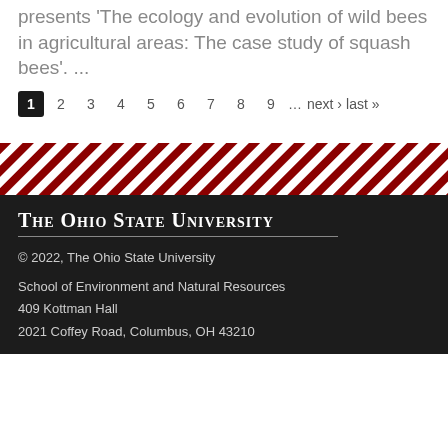presents 'The ecology and evolution of wild bees in agricultural areas: The case study of squash bees'. ...
1 2 3 4 5 6 7 8 9 … next › last »
[Figure (other): Diagonal red and white striped decorative banner]
The Ohio State University
© 2022, The Ohio State University
School of Environment and Natural Resources
409 Kottman Hall
2021 Coffey Road, Columbus, OH 43210